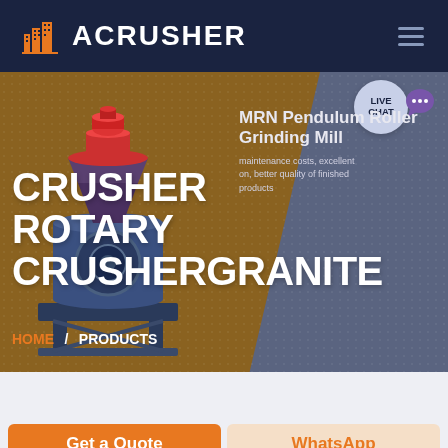[Figure (screenshot): ACrusher website header with dark navy background, orange building logo icon, ACRUSHER text in white, and hamburger menu icon on right]
[Figure (screenshot): Website hero section with brown/tan left panel and dark blue-gray right panel. Features an industrial crusher machine image on the left, large white text 'CRUSHER ROTARY CRUSHERGRANITE' overlaid, and on the right side: 'MRN Pendulum Roller Grinding Mill' product title with description about maintenance costs and quality, breadcrumb navigation HOME / PRODUCTS. Live chat badge in top right corner.]
CRUSHER ROTARY CRUSHERGRANITE
MRN Pendulum Roller Grinding Mill
maintenance costs, excellent on, better quality of finished products
HOME / PRODUCTS
Get a Quote
WhatsApp